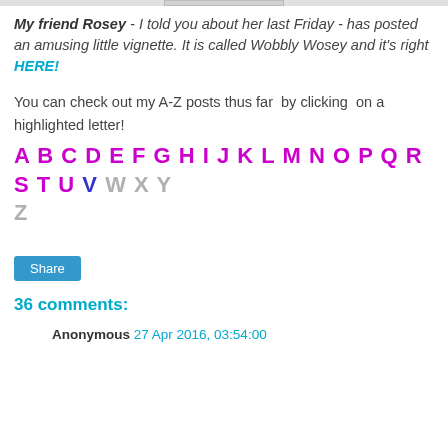My friend Rosey - I told you about her last Friday - has posted an amusing little vignette. It is called Wobbly Wosey and it's right HERE!
You can check out my A-Z posts thus far by clicking on a highlighted letter!
A B C D E F G H I J K L M N O P Q R S T U V W X Y Z
[Figure (other): Share button]
36 comments:
Anonymous 27 Apr 2016, 03:54:00